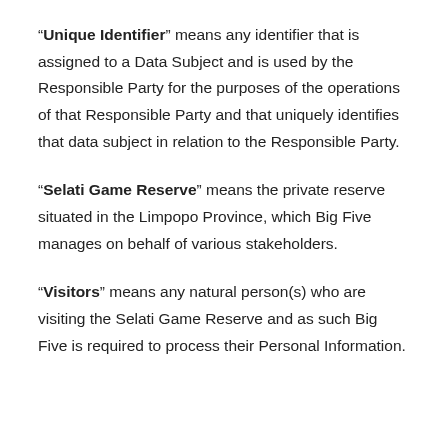“Unique Identifier” means any identifier that is assigned to a Data Subject and is used by the Responsible Party for the purposes of the operations of that Responsible Party and that uniquely identifies that data subject in relation to the Responsible Party.
“Selati Game Reserve” means the private reserve situated in the Limpopo Province, which Big Five manages on behalf of various stakeholders.
“Visitors” means any natural person(s) who are visiting the Selati Game Reserve and as such Big Five is required to process their Personal Information.